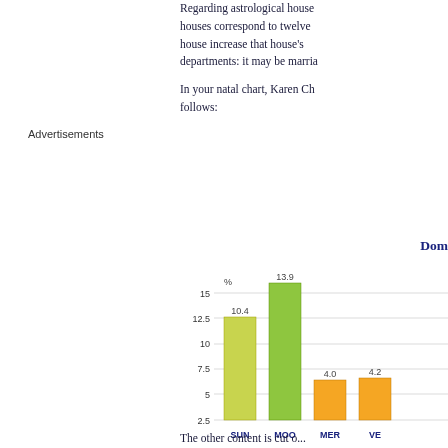Advertisements
Regarding astrological houses correspond to twelve house increase that house's departments: it may be marria
In your natal chart, Karen Ch follows:
Dom
[Figure (bar-chart): Dominants chart]
The other content is cut out...